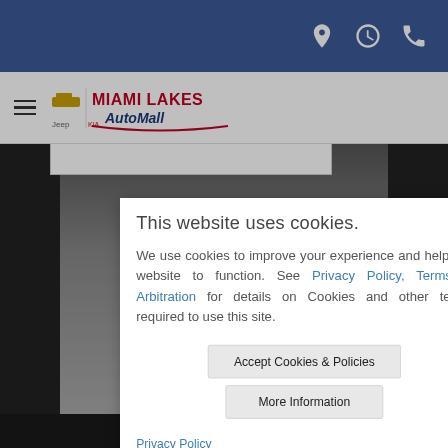[Figure (screenshot): Miami Lakes AutoMall website header with blue top bar containing location, clock, and phone icons, and white navigation bar with hamburger menu and logo]
This website uses cookies.
We use cookies to improve your experience and help our website to function. See Privacy Policy, Terms & Arbitration for details on Cookies and other terms required to use this site.
Accept Cookies & Policies
More Information
Privacy Policy